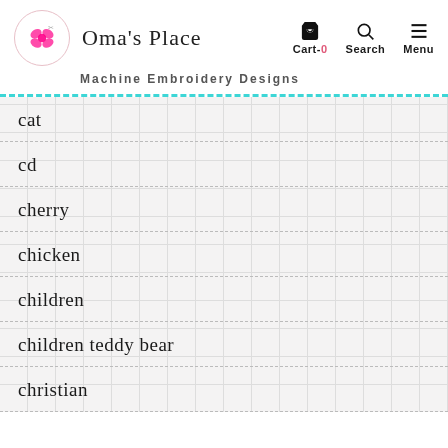Oma's Place — Machine Embroidery Designs
cat
cd
cherry
chicken
children
children teddy bear
christian